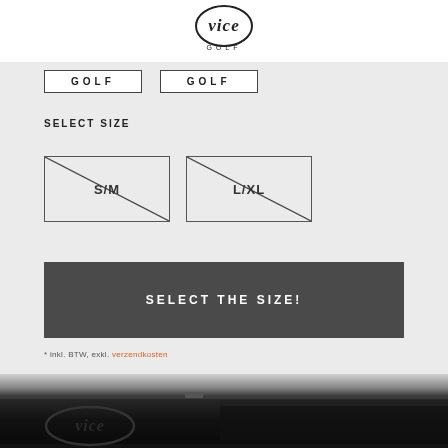[Figure (logo): Vice Golf logo — stylized cursive 'vice' wordmark with 'GOLF' text below in small caps]
[Figure (screenshot): Two white tab buttons with bold text 'GOLF' and letter-spacing, bordered in dark gray]
SELECT SIZE
[Figure (other): Two size option buttons with diagonal cross lines through them indicating out-of-stock: S/M and L/XL]
[Figure (other): Dark gray 'SELECT THE SIZE!' call-to-action button in white bold text]
* inkl. BTW, exkl. verzendkosten
[Figure (photo): Close-up photo of a black leather golf belt with Vice Golf embossed logo buckle]